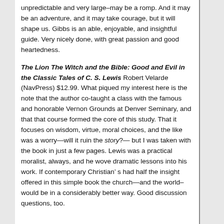unpredictable and very large—may be a romp. And it may be an adventure, and it may take courage, but it will shape us. Gibbs is an able, enjoyable, and insightful guide. Very nicely done, with great passion and good heartedness.
The Lion The Witch and the Bible: Good and Evil in the Classic Tales of C. S. Lewis Robert Velarde (NavPress) $12.99. What piqued my interest here is the note that the author co-taught a class with the famous and honorable Vernon Grounds at Denver Seminary, and that that course formed the core of this study. That it focuses on wisdom, virtue, moral choices, and the like was a worry—will it ruin the story?— but I was taken with the book in just a few pages. Lewis was a practical moralist, always, and he wove dramatic lessons into his work. If contemporary Christian’ s had half the insight offered in this simple book the church—and the world—would be in a considerably better way. Good discussion questions, too.